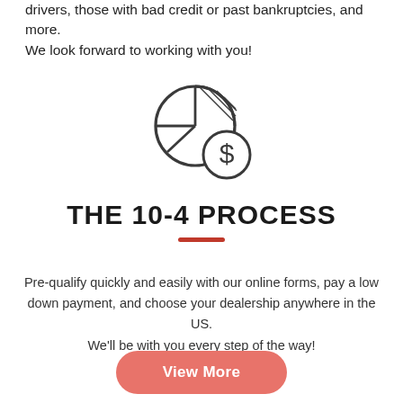drivers, those with bad credit or past bankruptcies, and more. We look forward to working with you!
[Figure (illustration): Icon of a pie chart with a dollar coin overlapping it, drawn in dark gray outline style]
THE 10-4 PROCESS
Pre-qualify quickly and easily with our online forms, pay a low down payment, and choose your dealership anywhere in the US. We'll be with you every step of the way!
View More